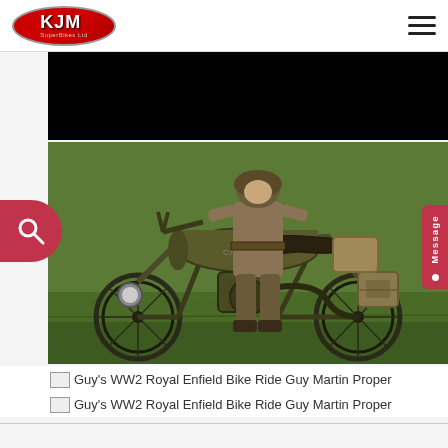[Figure (logo): KJM SuperBikes Ltd red oval logo]
[Figure (photo): Black video player area]
[Figure (photo): WW2 Royal Enfield military motorcycle with soldier in uniform standing beside it on a grassy field]
Guy's WW2 Royal Enfield Bike Ride Guy Martin Proper
Guy's WW2 Royal Enfield Bike Ride Guy Martin Proper